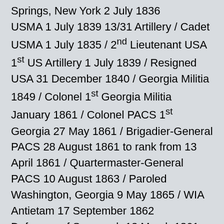Springs, New York 2 July 1836 USMA 1 July 1839 13/31 Artillery / Cadet USMA 1 July 1835 / 2nd Lieutenant USA 1st US Artillery 1 July 1839 / Resigned USA 31 December 1840 / Georgia Militia 1849 / Colonel 1st Georgia Militia January 1861 / Colonel PACS 1st Georgia 27 May 1861 / Brigadier-General PACS 28 August 1861 to rank from 13 April 1861 / Quartermaster-General PACS 10 August 1863 / Paroled Washington, Georgia 9 May 1865 / WIA Antietam 17 September 1862 Defences of Savannah 13 March 1861-26 October 1861 / Department of Georgia 26 October 1861-5 November 1861 / District of Georgia 5 November 1861-14 March 1862 / 4th Brigade 2nd Division Left Wing Army of Northern Virginia June 1862-26 June 1862 / [continues]